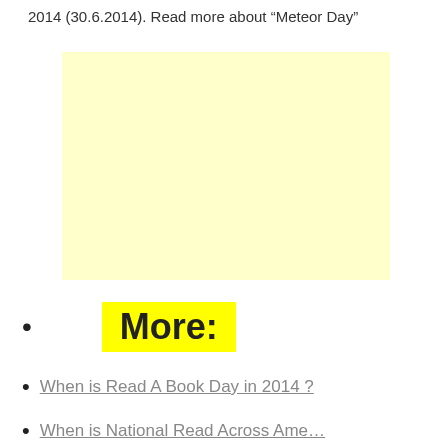2014 (30.6.2014). Read more about “Meteor Day”
[Figure (other): Light yellow placeholder advertisement box]
More:
When is Read A Book Day in 2014?
When is National Read Across America Day?